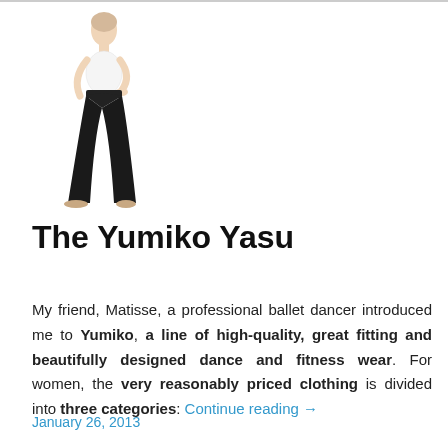[Figure (photo): A woman standing in dance/fitness wear — white top and black flared pants — posed with one hand on hip, full body shot on white background.]
The Yumiko Yasu
My friend, Matisse, a professional ballet dancer introduced me to Yumiko, a line of high-quality, great fitting and beautifully designed dance and fitness wear. For women, the very reasonably priced clothing is divided into three categories: Continue reading →
January 26, 2013